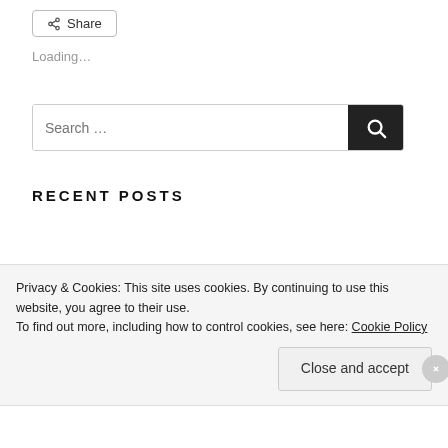[Figure (other): Share button with share icon]
Loading…
[Figure (other): Search box with search button]
RECENT POSTS
Privacy & Cookies: This site uses cookies. By continuing to use this website, you agree to their use.
To find out more, including how to control cookies, see here: Cookie Policy
Close and accept